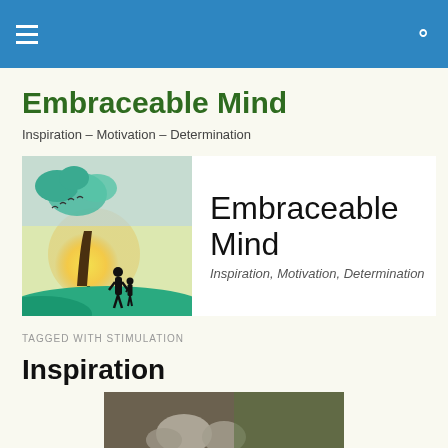Embraceable Mind — navigation header with hamburger menu and search icon
Embraceable Mind
Inspiration – Motivation – Determination
[Figure (logo): Embraceable Mind logo: left side shows illustrated scene with tree, sun, silhouette of adult and child on green hills; right side shows text 'Embraceable Mind' with tagline 'Inspiration, Motivation, Determination']
TAGGED WITH STIMULATION
Inspiration
[Figure (photo): Partial photo at bottom of page, appears to show blurred natural subject]